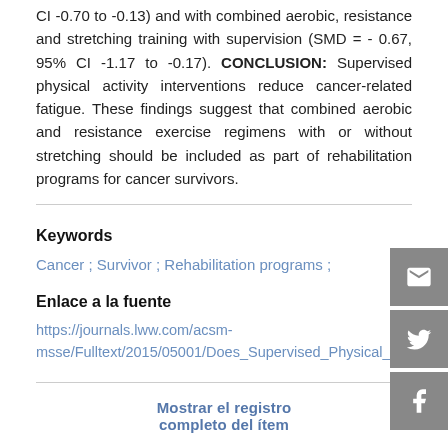CI -0.70 to -0.13) and with combined aerobic, resistance and stretching training with supervision (SMD = - 0.67, 95% CI -1.17 to -0.17). CONCLUSION: Supervised physical activity interventions reduce cancer-related fatigue. These findings suggest that combined aerobic and resistance exercise regimens with or without stretching should be included as part of rehabilitation programs for cancer survivors.
Keywords
Cancer ; Survivor ; Rehabilitation programs ;
Enlace a la fuente
https://journals.lww.com/acsm-msse/Fulltext/2015/05001/Does_Supervised_Physical_...
Mostrar el registro completo del ítem
Este ítem aparece en las siguientes colecciones